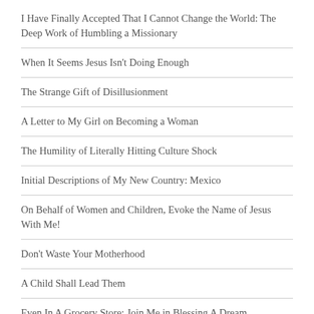I Have Finally Accepted That I Cannot Change the World: The Deep Work of Humbling a Missionary
When It Seems Jesus Isn't Doing Enough
The Strange Gift of Disillusionment
A Letter to My Girl on Becoming a Woman
The Humility of Literally Hitting Culture Shock
Initial Descriptions of My New Country: Mexico
On Behalf of Women and Children, Evoke the Name of Jesus With Me!
Don't Waste Your Motherhood
A Child Shall Lead Them
Even In A Grocery Store: Join Me in Blessing A Dream